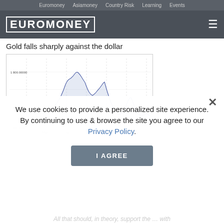Euromoney   Asiamoney   Country Risk   Learning   Events
[Figure (logo): Euromoney logo with hamburger menu on dark grey header bar]
Gold falls sharply against the dollar
[Figure (line-chart): Gold price line chart showing price around 1,800.00000 with a peak and decline, time axis showing May, Jul, Sep, 2012, Mar]
We use cookies to provide a personalized site experience.
By continuing to use & browse the site you agree to our Privacy Policy.
I AGREE
All that should, in theory, support the ... with